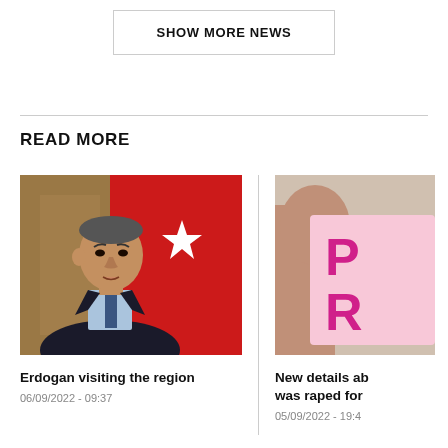SHOW MORE NEWS
READ MORE
[Figure (photo): Photo of Erdogan seated in front of a red Turkish flag with white star]
Erdogan visiting the region
06/09/2022 - 09:37
[Figure (photo): Partially visible photo of a person holding a pink sign with letters visible]
New details ab... was raped for ...
05/09/2022 - 19:4...